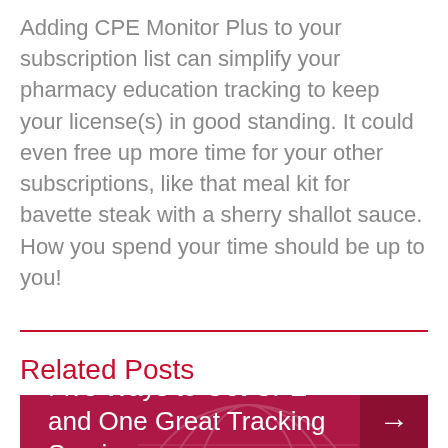Adding CPE Monitor Plus to your subscription list can simplify your pharmacy education tracking to keep your license(s) in good standing. It could even free up more time for your other subscriptions, like that meal kit for bavette steak with a sherry shallot sauce. How you spend your time should be up to you!
Related Posts
[Figure (illustration): Dark pink/maroon card with globe watermark and text 'Five Ways to Get CPE and One Great Tracking Service' with a right arrow button]